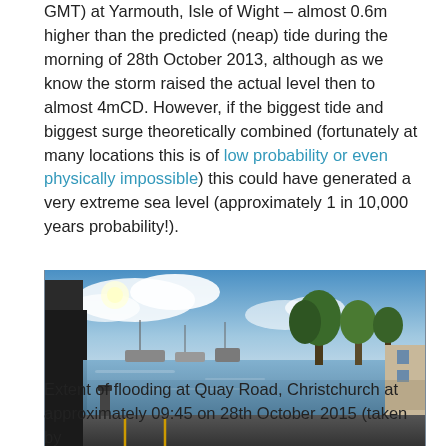GMT) at Yarmouth, Isle of Wight – almost 0.6m higher than the predicted (neap) tide during the morning of 28th October 2013, although as we know the storm raised the actual level then to almost 4mCD. However, if the biggest tide and biggest surge theoretically combined (fortunately at many locations this is of low probability or even physically impossible) this could have generated a very extreme sea level (approximately 1 in 10,000 years probability!).
[Figure (photo): Panoramic photo showing extent of flooding at Quay Road, Christchurch. Water covers a road near a harbour with boats moored, trees visible in background under blue sky with clouds.]
Extent of flooding at Quay Road, Christchurch at approximately 09:45 on 28th October 2015 (taken by